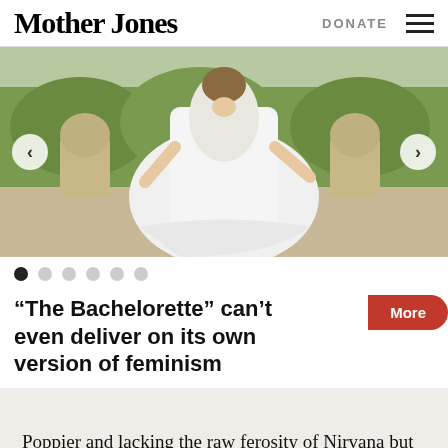Mother Jones | DONATE
[Figure (photo): Woman in a white wedding dress standing outdoors with stone lion statues and hedges in the background. Slideshow navigation arrows visible on left and right.]
“The Bachelorette” can’t even deliver on its own version of feminism
Poppier and lacking the raw ferosity of Nirvana but still angsty in its own right, the Foo Fighters came onto the scene with songs like “Everlong” and